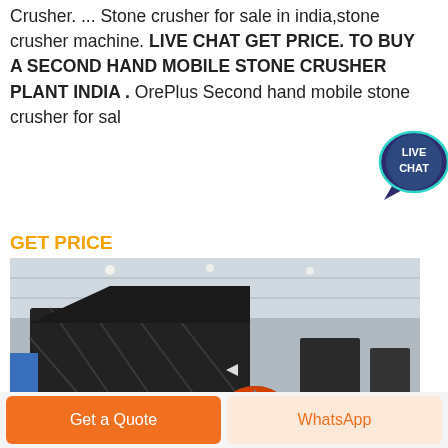Crusher. ... Stone crusher for sale in india,stone crusher machine. LIVE CHAT GET PRICE. TO BUY A SECOND HAND MOBILE STONE CRUSHER PLANT INDIA . OrePlus Second hand mobile stone crusher for sal
[Figure (other): Live Chat speech bubble icon — dark teal/navy bubble with white text 'LIVE CHAT']
GET PRICE
[Figure (photo): Large stone crusher machine (impact crusher) sitting on a yellow-edged platform inside an industrial warehouse/factory building.]
small stone crusher machine in india
Get a Quote
WhatsApp